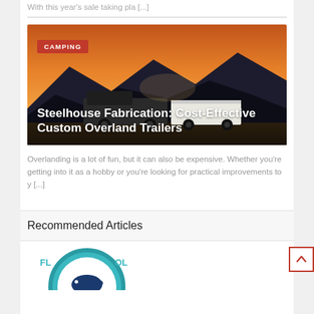With this year's sale taking pla [...]
[Figure (photo): Article card image showing a truck and custom overland trailer at sunset in the mountains, with orange sky. Overlay text: CAMPING badge and article title 'Steelhouse Fabrication: Cost-Effective Custom Overland Trailers']
Overlanding is a lot of fun, but it can also be expensive. Whether you're getting into it as a hobby or you're looking for practical improvements to y [...]
Recommended Articles
[Figure (logo): Circular logo with teal/blue border, partially visible, featuring a fish illustration and letters FL...OL...]